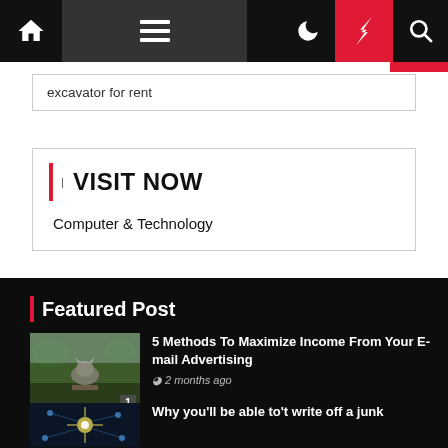Navigation bar with home, menu, moon, bolt, and search icons
excavator for rent
| VISIT NOW
Computer & Technology
Featured Post
[Figure (photo): Cat sitting on a fence outdoors]
5 Methods To Maximize Income From Your E-mail Advertising
2 months ago
[Figure (photo): Dark tech/network themed image with light burst]
Why you'll be able to't write off a junk